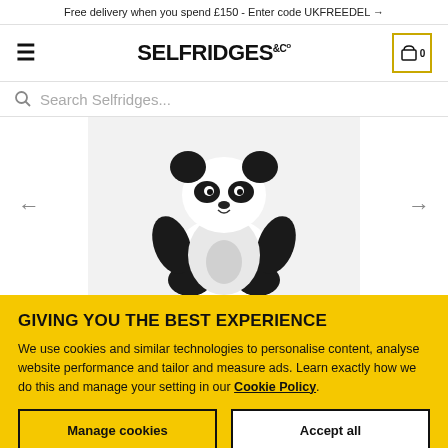Free delivery when you spend £150 - Enter code UKFREEDEL →
SELFRIDGES &Co — hamburger menu, basket 0
Search Selfridges...
[Figure (photo): A plush black and white panda stuffed animal toy against a light grey background, shown from the torso upward with navigation arrows on either side.]
GIVING YOU THE BEST EXPERIENCE
We use cookies and similar technologies to personalise content, analyse website performance and tailor and measure ads. Learn exactly how we do this and manage your setting in our Cookie Policy.
Manage cookies
Accept all